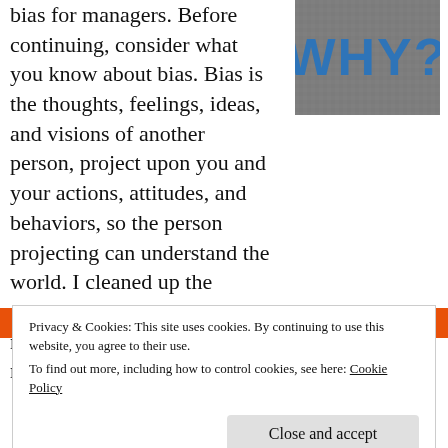bias for managers. Before continuing, consider what you know about bias.  Bias is the thoughts, feelings, ideas, and visions of another person, project upon you and your actions, attitudes, and behaviors, so the person projecting can understand the world.  I cleaned up the obvious grammatical errors, not that this improved the material very much.
[Figure (photo): Book cover showing the word WHY? in large blue letters on a dark textured background]
[Figure (photo): Orange and black banner strip at bottom of page content area]
Privacy & Cookies: This site uses cookies. By continuing to use this website, you agree to their use.
To find out more, including how to control cookies, see here: Cookie Policy
Close and accept